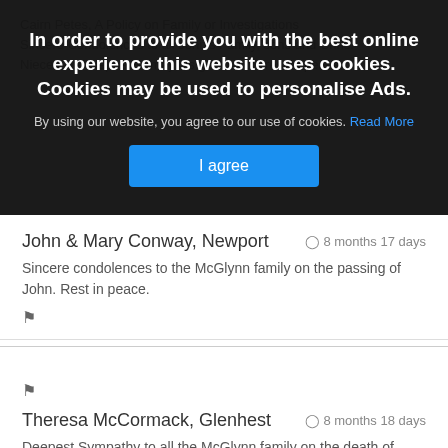In order to provide you with the best online experience this website uses cookies. Cookies may be used to personalise Ads.
By using our website, you agree to our use of cookies. Read More
I agree
John & Mary Conway, Newport   8 months 17 days
Sincere condolences to the McGlynn family on the passing of John. Rest in peace.
Theresa McCormack, Glenhest   8 months 18 days
Deepest Sympathy to all the McGlynn family on the death of